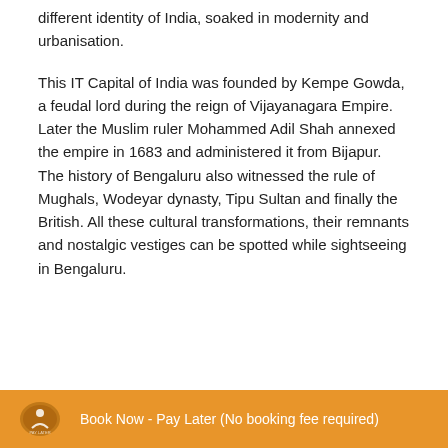different identity of India, soaked in modernity and urbanisation.
This IT Capital of India was founded by Kempe Gowda, a feudal lord during the reign of Vijayanagara Empire. Later the Muslim ruler Mohammed Adil Shah annexed the empire in 1683 and administered it from Bijapur. The history of Bengaluru also witnessed the rule of Mughals, Wodeyar dynasty, Tipu Sultan and finally the British. All these cultural transformations, their remnants and nostalgic vestiges can be spotted while sightseeing in Bengaluru.
Book Now - Pay Later (No booking fee required)